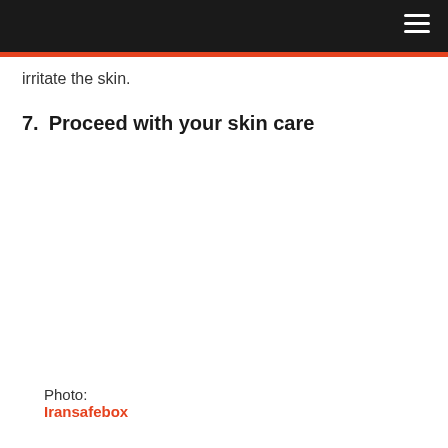irritate the skin.
7.  Proceed with your skin care
Photo: Iransafebox